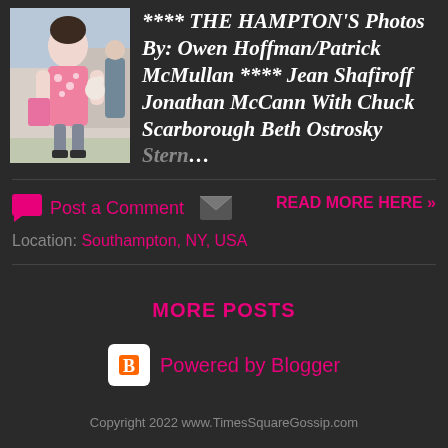[Figure (photo): Woman in pink floral dress holding a small dog outdoors]
**** THE HAMPTON'S Photos By: Owen Hoffman/Patrick McMullan **** Jean Shafiroff Jonathan McCann With Chuck Scarborough Beth Ostrosky Stern...
Post a Comment
READ MORE HERE »
Location: Southampton, NY, USA
MORE POSTS
Powered by Blogger
Copyright 2022 www.TimesSquareGossip.com